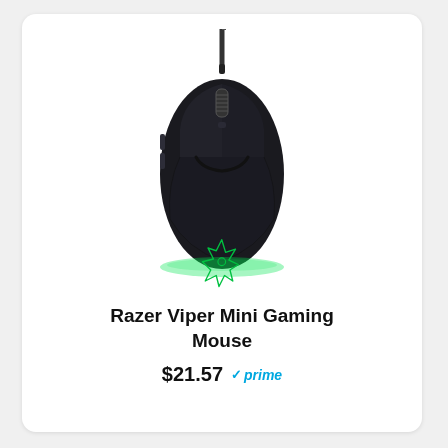[Figure (photo): Razer Viper Mini Gaming Mouse viewed from above, black color with green Razer logo and green LED underglow at the base, braided USB cable attached at top]
Razer Viper Mini Gaming Mouse
$21.57  prime